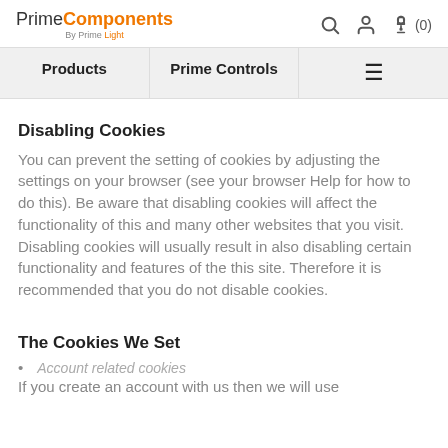PrimeComponents By Prime Light — navigation: Products | Prime Controls | menu
Disabling Cookies
You can prevent the setting of cookies by adjusting the settings on your browser (see your browser Help for how to do this). Be aware that disabling cookies will affect the functionality of this and many other websites that you visit. Disabling cookies will usually result in also disabling certain functionality and features of the this site. Therefore it is recommended that you do not disable cookies.
The Cookies We Set
Account related cookies
If you create an account with us then we will use